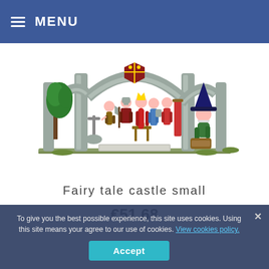MENU
[Figure (illustration): Colorful toy/figurine scene depicting fairy tale castle characters: a knight, princess, wizard with hat, and other medieval figures under gothic stone arches with a tree and shield crest]
Fairy tale castle small
€51.68
To give you the best possible experience, this site uses cookies. Using this site means your agree to our use of cookies. View cookies policy.
Accept